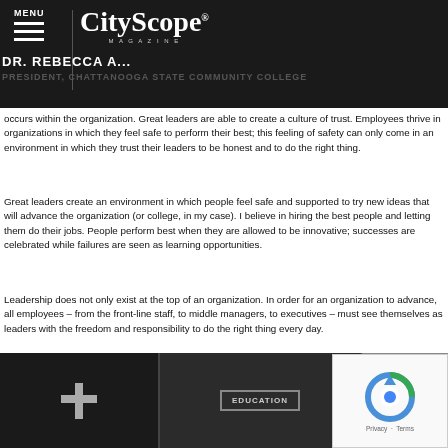MENU | CityScope Magazine | DR. REBECCA A... | PRESIDENT, CHATTANOOGA STATE COMMUNITY COLLEGE
occurs within the organization. Great leaders are able to create a culture of trust. Employees thrive in organizations in which they feel safe to perform their best; this feeling of safety can only come in an environment in which they trust their leaders to be honest and to do the right thing.
Great leaders create an environment in which people feel safe and supported to try new ideas that will advance the organization (or college, in my case). I believe in hiring the best people and letting them do their jobs. People perform best when they are allowed to be innovative; successes are celebrated while failures are seen as learning opportunities.
Leadership does not only exist at the top of an organization. In order for an organization to advance, all employees – from the front-line staff, to middle managers, to executives – must see themselves as leaders with the freedom and responsibility to do the right thing every day.
[Figure (photo): Bottom section showing framed documents/diplomas on dark background and a reCAPTCHA widget in the corner]